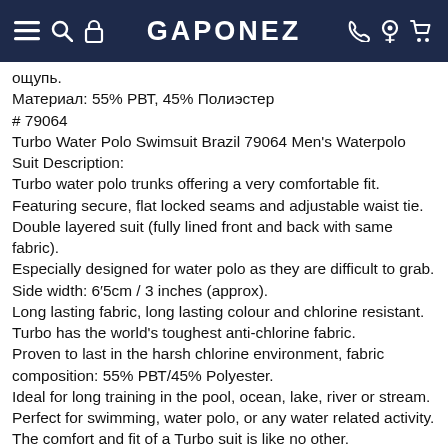GAPONEZ
ощупь.
Материал: 55% РВТ, 45% Полиэстер
# 79064
Turbo Water Polo Swimsuit Brazil 79064 Men's Waterpolo Suit Description:
Turbo water polo trunks offering a very comfortable fit.
Featuring secure, flat locked seams and adjustable waist tie.
Double layered suit (fully lined front and back with same fabric).
Especially designed for water polo as they are difficult to grab.
Side width: 6′5cm / 3 inches (approx).
Long lasting fabric, long lasting colour and chlorine resistant.
Turbo has the world's toughest anti-chlorine fabric.
Proven to last in the harsh chlorine environment, fabric composition: 55% РВТ/45% Polyester.
Ideal for long training in the pool, ocean, lake, river or stream.
Perfect for swimming, water polo, or any water related activity.
The comfort and fit of a Turbo suit is like no other.
Turbo the one and only.
Turbo was founded by the Masso family more than fifty years ago, it is now, unquestionably one of the worlds leading water polo brands.